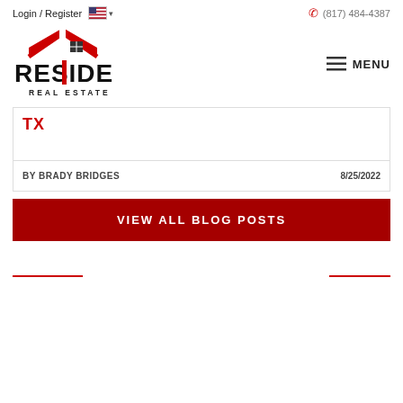Login / Register   (817) 484-4387
[Figure (logo): RESIDE Real Estate logo with red house roof and vertical bar through 'I']
TX
BY BRADY BRIDGES   8/25/2022
VIEW ALL BLOG POSTS